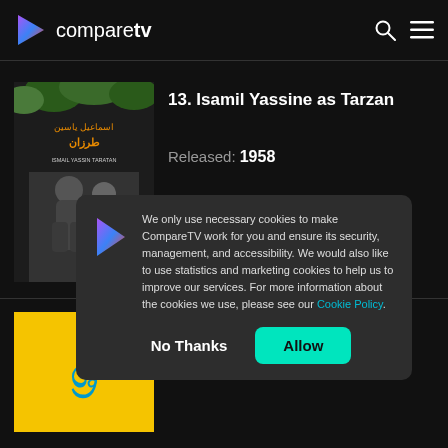comparetv
[Figure (screenshot): Movie poster thumbnail for Isamil Yassine as Tarzan (1958), black and white image with Arabic text]
13. Isamil Yassine as Tarzan
Released: 1958
[Figure (screenshot): Movie poster thumbnail with yellow background and Malayalam text]
We only use necessary cookies to make CompareTV work for you and ensure its security, management, and accessibility. We would also like to use statistics and marketing cookies to help us to improve our services. For more information about the cookies we use, please see our Cookie Policy.
No Thanks
Allow